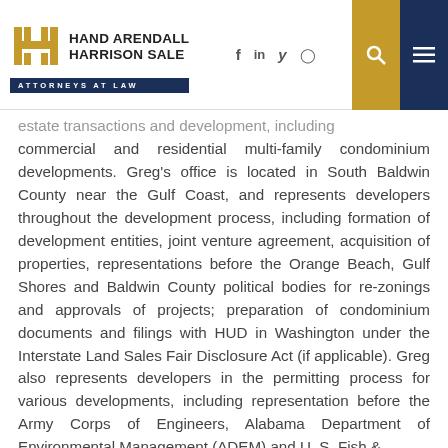HAND ARENDALL HARRISON SALE — ATTORNEYS AT LAW
estate transactions and development, including commercial and residential multi-family condominium developments. Greg's office is located in South Baldwin County near the Gulf Coast, and represents developers throughout the development process, including formation of development entities, joint venture agreement, acquisition of properties, representations before the Orange Beach, Gulf Shores and Baldwin County political bodies for re-zonings and approvals of projects; preparation of condominium documents and filings with HUD in Washington under the Interstate Land Sales Fair Disclosure Act (if applicable). Greg also represents developers in the permitting process for various developments, including representation before the Army Corps of Engineers, Alabama Department of Environmental Management (ADEM) and U. S. Fish &